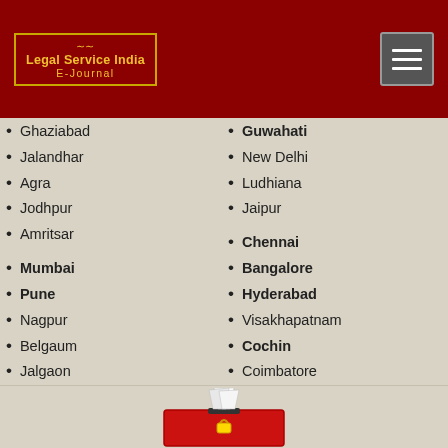Legal Service India E-Journal
Ghaziabad
Jalandhar
Agra
Jodhpur
Amritsar
Mumbai
Pune
Nagpur
Belgaum
Jalgaon
Nashik
Ahmedabad
Surat
Indore
Khandwa
Rajkot
Guwahati
New Delhi
Ludhiana
Jaipur
Chennai
Bangalore
Hyderabad
Visakhapatnam
Cochin
Coimbatore
Pondicherry
Trivandrum
Eluru
Vapi
Bengaluru
[Figure (illustration): Ballot box with voting papers, red box with white papers sticking out, viewed from slight top angle]